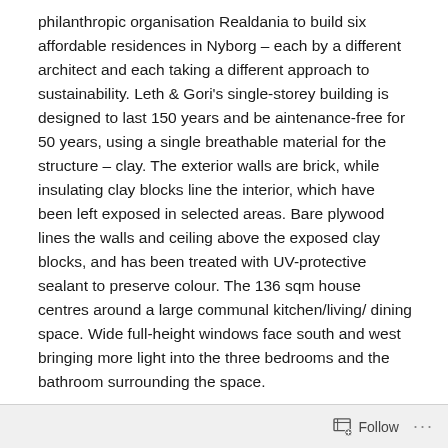philanthropic organisation Realdania to build six affordable residences in Nyborg – each by a different architect and each taking a different approach to sustainability. Leth & Gori's single-storey building is designed to last 150 years and be aintenance-free for 50 years, using a single breathable material for the structure – clay. The exterior walls are brick, while insulating clay blocks line the interior, which have been left exposed in selected areas. Bare plywood lines the walls and ceiling above the exposed clay blocks, and has been treated with UV-protective sealant to preserve colour. The 136 sqm house centres around a large communal kitchen/living/ dining space. Wide full-height windows face south and west bringing more light into the three bedrooms and the bathroom surrounding the space.
Follow ...